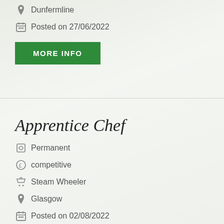Dunfermline
Posted on 27/06/2022
MORE INFO
Apprentice Chef
Permanent
competitive
Steam Wheeler
Glasgow
Posted on 02/08/2022
MORE INFO